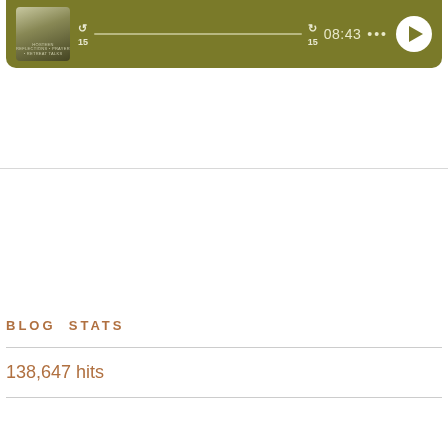[Figure (screenshot): Podcast audio player widget with olive/dark yellow background, showing a thumbnail image, skip-back 15, progress bar, skip-forward 15, time 08:43, three dots menu, and circular play button]
Email Address
Subscribe
BLOG STATS
138,647 hits